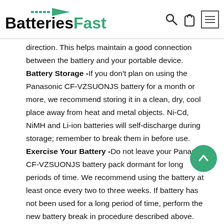BatteriesFast
direction. This helps maintain a good connection between the battery and your portable device. Battery Storage -If you don't plan on using the Panasonic CF-VZSUONJS battery for a month or more, we recommend storing it in a clean, dry, cool place away from heat and metal objects. Ni-Cd, NiMH and Li-ion batteries will self-discharge during storage; remember to break them in before use. Exercise Your Battery -Do not leave your Panasonic CF-VZSUONJS battery pack dormant for long periods of time. We recommend using the battery at least once every two to three weeks. If battery has not been used for a long period of time, perform the new battery break in procedure described above.